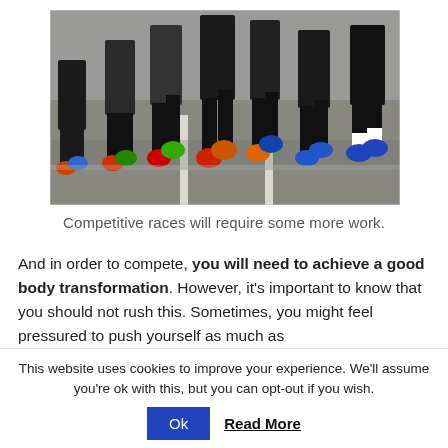[Figure (photo): Close-up photo of runners' legs and feet on a road during a race, wearing colorful running shoes.]
Competitive races will require some more work.
And in order to compete, you will need to achieve a good body transformation. However, it's important to know that you should not rush this. Sometimes, you might feel pressured to push yourself as much as
This website uses cookies to improve your experience. We'll assume you're ok with this, but you can opt-out if you wish.
Ok   Read More